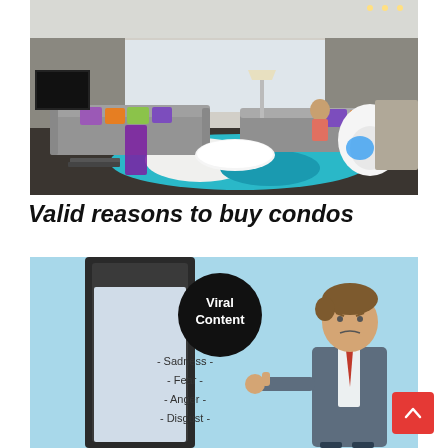[Figure (photo): Interior photo of a modern living room with grey sofas, colorful pillows, a white circular coffee table, a teal patterned rug, a white egg chair, and a purple decorative object on the floor.]
Valid reasons to buy condos
[Figure (infographic): Infographic showing a dark phone/tablet device with a black circle labeled 'Viral Content' and a list: -Sadness-, -Fear-, -Anger-, -Disgust-. A cartoon businessman in a grey suit stands to the right pointing at the device, with a sad expression. Background is light blue.]